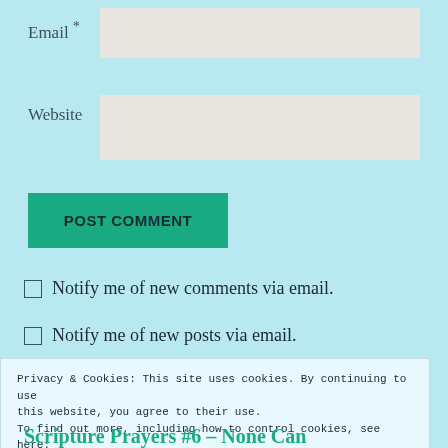Email *
Website
POST COMMENT
Notify me of new comments via email.
Notify me of new posts via email.
Privacy & Cookies: This site uses cookies. By continuing to use this website, you agree to their use.
To find out more, including how to control cookies, see here: Cookie Policy
Close and accept
Scripture Prayers #6 – None Can